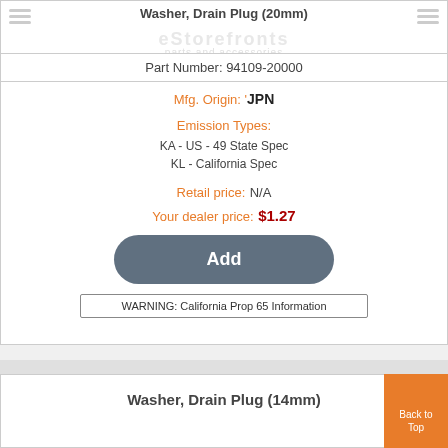Washer, Drain Plug (20mm)
Part Number: 94109-20000
Mfg. Origin: JPN
Emission Types:
KA - US - 49 State Spec
KL - California Spec
Retail price: N/A
Your dealer price: $1.27
Add
WARNING: California Prop 65 Information
Washer, Drain Plug (14mm)